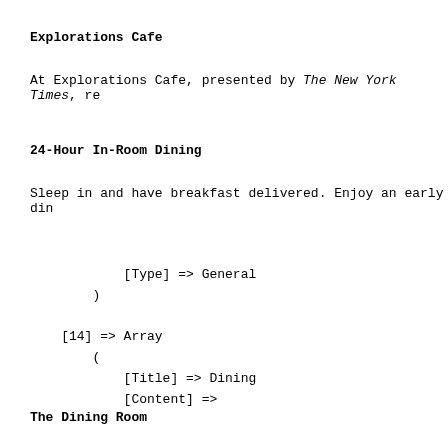Explorations Cafe
At Explorations Cafe, presented by The New York Times, re
24-Hour In-Room Dining
Sleep in and have breakfast delivered. Enjoy an early din
[Type] => General
        )

    [14] => Array
        (
            [Title] => Dining
            [Content] =>
The Dining Room